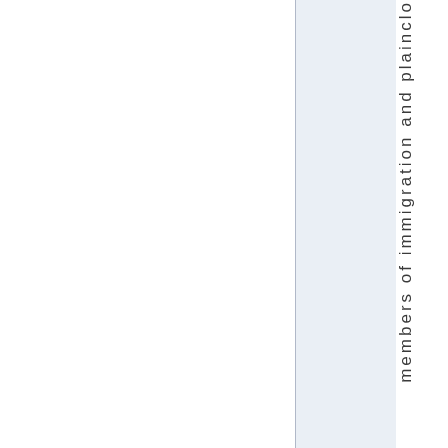members of immigration and plainclо